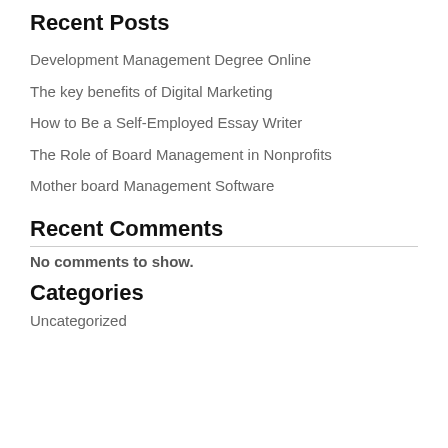Recent Posts
Development Management Degree Online
The key benefits of Digital Marketing
How to Be a Self-Employed Essay Writer
The Role of Board Management in Nonprofits
Mother board Management Software
Recent Comments
No comments to show.
Categories
Uncategorized